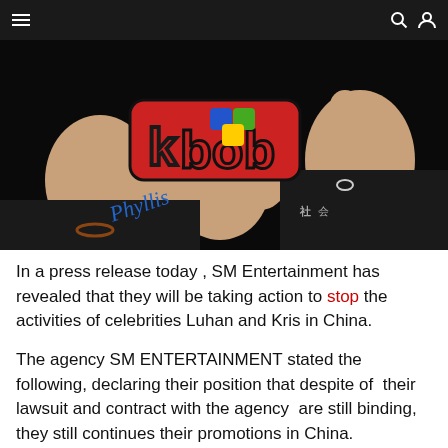Navigation bar with hamburger menu, search icon, and user icon
[Figure (photo): Close-up photo of two people holding a colorful logo sticker that reads 'kbob' in red letters with blue and green cube graphics, against a dark background. One person is wearing a black graphic t-shirt and giving a thumbs up.]
In a press release today , SM Entertainment has revealed that they will be taking action to stop the activities of celebrities Luhan and Kris in China.
The agency SM ENTERTAINMENT stated the following, declaring their position that despite of their lawsuit and contract with the agency are still binding, they still continues their promotions in China.